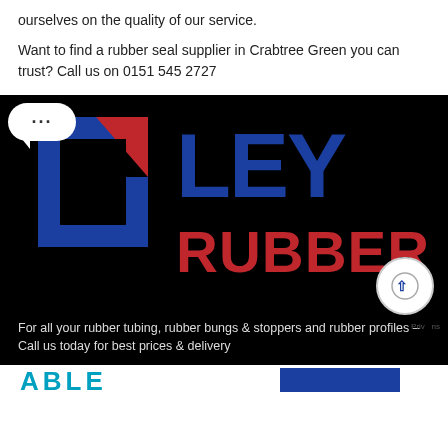ourselves on the quality of our service.
Want to find a rubber seal supplier in Crabtree Green you can trust? Call us on 0151 545 2727
[Figure (logo): Ley Rubber company logo on black background with geometric blue and red square bracket icon and 'LEY' in blue text and 'RUBBER' in red text]
For all your rubber tubing, rubber bungs & stoppers and rubber profiles – Call us today for best prices & delivery
[Figure (logo): Partial view of another logo at the bottom of the page on white background]